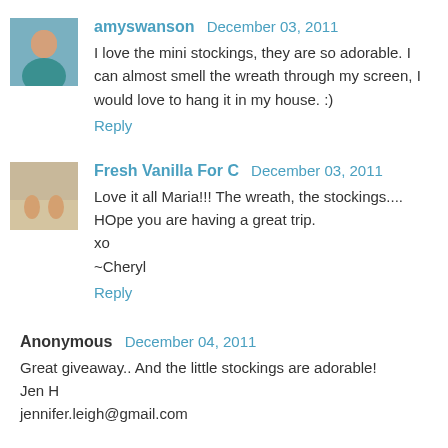[Figure (photo): Small square avatar photo of a woman in a teal top]
amyswanson  December 03, 2011
I love the mini stockings, they are so adorable. I can almost smell the wreath through my screen, I would love to hang it in my house. :)
Reply
[Figure (photo): Small square avatar photo showing feet/legs on a sandy surface]
Fresh Vanilla For C  December 03, 2011
Love it all Maria!!! The wreath, the stockings.... HOpe you are having a great trip.
xo
~Cheryl
Reply
Anonymous  December 04, 2011
Great giveaway.. And the little stockings are adorable!
Jen H
jennifer.leigh@gmail.com